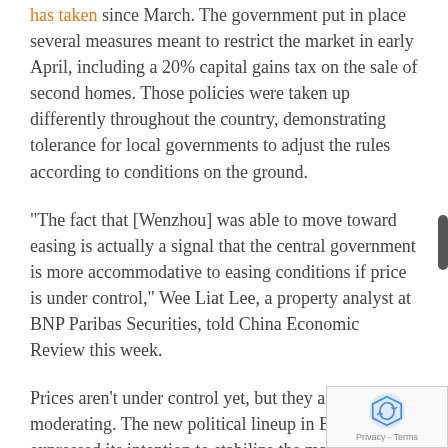has taken since March. The government put in place several measures meant to restrict the market in early April, including a 20% capital gains tax on the sale of second homes. Those policies were taken up differently throughout the country, demonstrating tolerance for local governments to adjust the rules according to conditions on the ground.
“The fact that [Wenzhou] was able to move toward easing is actually a signal that the central government is more accommodative to easing conditions if price is under control,” Wee Liat Lee, a property analyst at BNP Paribas Securities, told China Economic Review this week.
Prices aren’t under control yet, but they are moderating. The new political lineup in Beijing has expressed its intention to stabilize the market in the long run. Moderate but declining price growth month-on-month for the rest of the year is unlikely to convince leaders to step in with harsh policy measures.